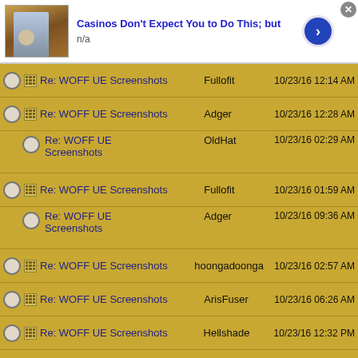[Figure (screenshot): Ad banner: Casinos Don't Expect You to Do This; but, n/a, with arrow button]
Re: WOFF UE Screenshots  Fullofit  10/23/16 12:14 AM
Re: WOFF UE Screenshots  Adger  10/23/16 12:28 AM
Re: WOFF UE Screenshots  OldHat  10/23/16 02:29 AM
Re: WOFF UE Screenshots  Fullofit  10/23/16 01:59 AM
Re: WOFF UE Screenshots  Adger  10/23/16 09:36 AM
Re: WOFF UE Screenshots  hoongadoonga  10/23/16 02:57 AM
Re: WOFF UE Screenshots  ArisFuser  10/23/16 06:26 AM
Re: WOFF UE Screenshots  Hellshade  10/23/16 12:32 PM
Re: WOFF UE Screenshots  RAF_Louvert  10/23/16 12:43 PM
[Figure (screenshot): Ad banner: Casinos Don't Want You to Do This; but They, n/a, with arrow button]